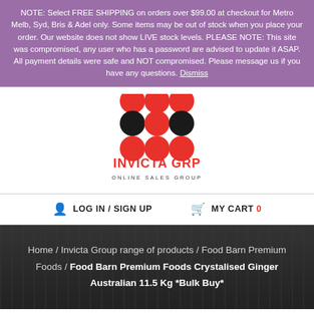NOTE: Select FREE SHIPPING on orders over $99.00 at checkout for Metro Melb, Syd, Bris & Adel only. Some items may be out of stock when you place your order. Our website does not show LIVE stock levels. PLEASE NOTE: This site was compromised, any user who has a password are advised to update it ASAP. All payment details were safe and NOT compromised. Please message us if you have any questions. Dismiss
[Figure (logo): Invicta GRP logo — two rows of coloured dots (black, red, black / red, red, red) above the text INVICTA GRP / ONLINE SALES GROUP]
LOG IN / SIGN UP    MY CART 0
Home / Invicta Group range of products / Food Barn Premium Foods / Food Barn Premium Foods Crystalised Ginger Australian 11.5 Kg *Bulk Buy*